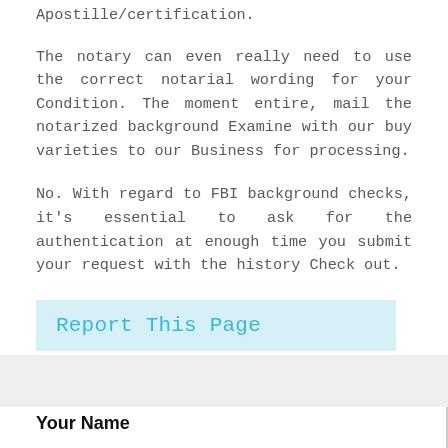Apostille/certification.
The notary can even really need to use the correct notarial wording for your Condition. The moment entire, mail the notarized background Examine with our buy varieties to our Business for processing.
No. With regard to FBI background checks, it's essential to ask for the authentication at enough time you submit your request with the history Check out.
Report This Page
Your Name